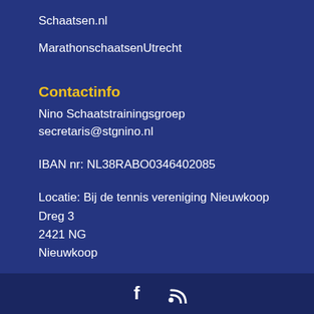Schaatsen.nl
MarathonschaatsenUtrecht
Contactinfo
Nino Schaatstrainingsgroep
secretaris@stgnino.nl
IBAN nr: NL38RABO0346402085
Locatie: Bij de tennis vereniging Nieuwkoop
Dreg 3
2421 NG
Nieuwkoop
[Figure (other): Footer bar with Facebook and RSS feed icons]